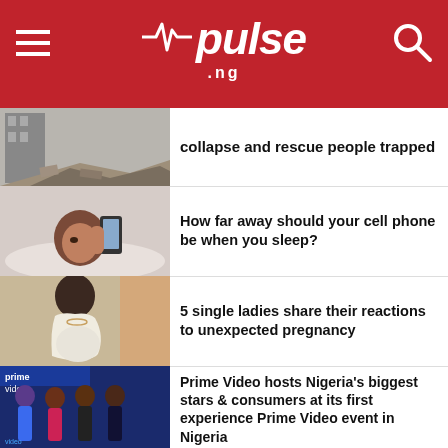pulse.ng
collapse and rescue people trapped
[Figure (photo): Collapsed building with rubble and debris]
How far away should your cell phone be when you sleep?
[Figure (photo): Woman lying in bed looking at cell phone]
5 single ladies share their reactions to unexpected pregnancy
[Figure (photo): Pregnant woman standing indoors]
Prime Video hosts Nigeria's biggest stars & consumers at its first experience Prime Video event in Nigeria